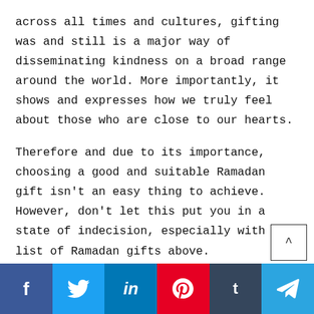across all times and cultures, gifting was and still is a major way of disseminating kindness on a broad range around the world. More importantly, it shows and expresses how we truly feel about those who are close to our hearts.
Therefore and due to its importance, choosing a good and suitable Ramadan gift isn't an easy thing to achieve. However, don't let this put you in a state of indecision, especially with the list of Ramadan gifts above.
Once you have an idea of what options lie
[Figure (other): Social sharing bar with Facebook, Twitter, LinkedIn, Pinterest, Tumblr, and Telegram buttons]